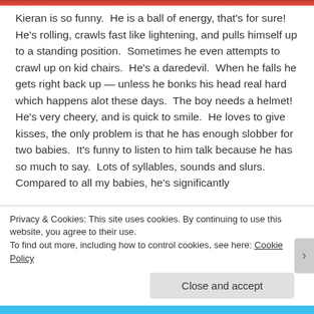[Figure (photo): Top image strip showing partial photo (red/sports related)]
Kieran is so funny.  He is a ball of energy, that's for sure!  He's rolling, crawls fast like lightening, and pulls himself up to a standing position.  Sometimes he even attempts to crawl up on kid chairs.  He's a daredevil.  When he falls he gets right back up — unless he bonks his head real hard which happens alot these days.  The boy needs a helmet! He's very cheery, and is quick to smile.  He loves to give kisses, the only problem is that he has enough slobber for two babies.  It's funny to listen to him talk because he has so much to say.  Lots of syllables, sounds and slurs.  Compared to all my babies, he's significantly
Privacy & Cookies: This site uses cookies. By continuing to use this website, you agree to their use.
To find out more, including how to control cookies, see here: Cookie Policy
Close and accept